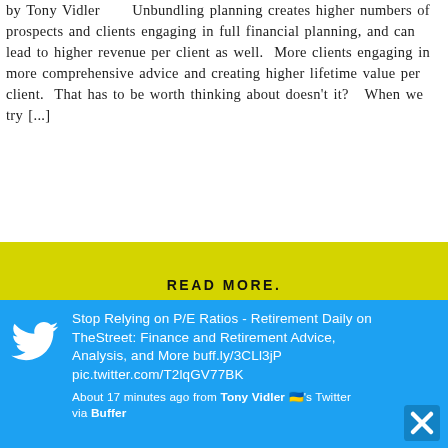by Tony Vidler      Unbundling planning creates higher numbers of prospects and clients engaging in full financial planning, and can lead to higher revenue per client as well.  More clients engaging in more comprehensive advice and creating higher lifetime value per client.  That has to be worth thinking about doesn't it?   When we try [...]
READ MORE.
Make your professional designations mean something to clients
by Tony Vidler        Why aren't more financial advisers using their professional designations and qualifications actively? There is ample data that they...
[Figure (screenshot): Twitter widget overlay showing tweet: 'Stop Relying on P/E Ratios - Retirement Daily on TheStreet: Finance and Retirement Advice, Analysis, and More buff.ly/3CLl3jP pic.twitter.com/T2lqGV77BK' — About 17 minutes ago from Tony Vidler 🇺🇦's Twitter via Buffer. Blue background with Twitter bird logo and close (X) button.]